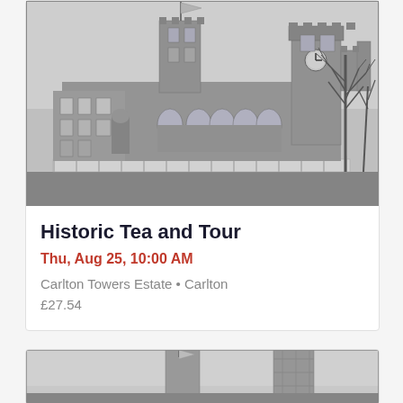[Figure (photo): Black and white historical photograph of Carlton Towers, a large Victorian Gothic manor house with towers, battlements, and large arched windows. Bare trees visible on the right side. A flag flies from one of the towers.]
Historic Tea and Tour
Thu, Aug 25, 10:00 AM
Carlton Towers Estate • Carlton
£27.54
[Figure (photo): Black and white historical photograph of Carlton Towers, partially visible at bottom of page showing towers with scaffolding and a flag.]